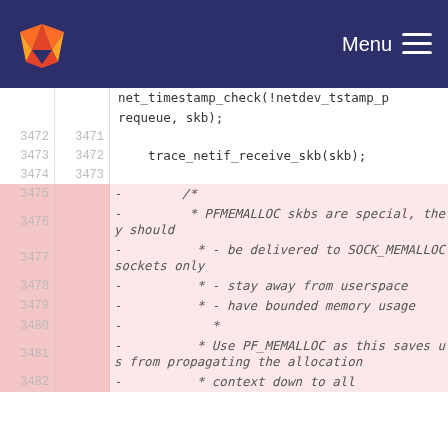GitLab Menu
net_timestamp_check(!netdev_tstamp_prequeue, skb);
trace_netif_receive_skb(skb);
3472 3471
3473 3472
3474 3473
3475 - /*
3476 - * PFMEMALLOC skbs are special, they should
3477 - * - be delivered to SOCK_MEMALLOC sockets only
3478 - * - stay away from userspace
3479 - * - have bounded memory usage
3480 - *
3481 - * Use PF_MEMALLOC as this saves us from propagating the allocation
3482 - * context down to all